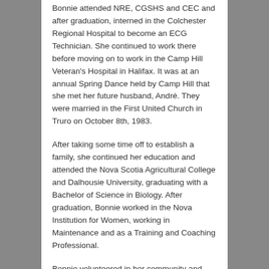Bonnie attended NRE, CGSHS and CEC and after graduation, interned in the Colchester Regional Hospital to become an ECG Technician. She continued to work there before moving on to work in the Camp Hill Veteran's Hospital in Halifax. It was at an annual Spring Dance held by Camp Hill that she met her future husband, André. They were married in the First United Church in Truro on October 8th, 1983.
After taking some time off to establish a family, she continued her education and attended the Nova Scotia Agricultural College and Dalhousie University, graduating with a Bachelor of Science in Biology. After graduation, Bonnie worked in the Nova Institution for Women, working in Maintenance and as a Training and Coaching Professional.
Bonnie volunteered in her community and was